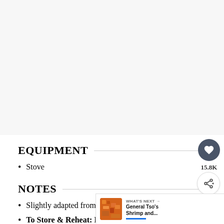[Figure (other): Blank/gray placeholder area at top of page, possibly for an image or advertisement]
EQUIPMENT
Stove
NOTES
Slightly adapted from Food Network.
To Store & Reheat: Refrigerate cooled